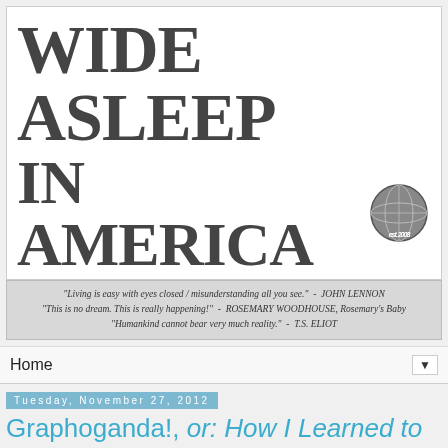WIDE ASLEEP IN AMERICA est. 2008
"Living is easy with eyes closed / misunderstanding all you see." - JOHN LENNON
"This is no dream. This is really happening!" - ROSEMARY WOODHOUSE, Rosemary's Baby
"Humankind cannot bear very much reality." - T.S. ELIOT
Home
Tuesday, November 27, 2012
Graphoganda!, or: How I Learned to Stop Worrying and Love George Jahn's Embarrassing Nonsense
[Figure (photo): A partially visible photograph at the bottom of the page, appears to show a map or document with text.]